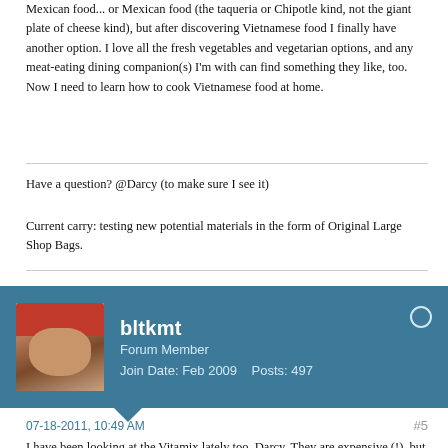Mexican food... or Mexican food (the taqueria or Chipotle kind, not the giant plate of cheese kind), but after discovering Vietnamese food I finally have another option. I love all the fresh vegetables and vegetarian options, and any meat-eating dining companion(s) I'm with can find something they like, too. Now I need to learn how to cook Vietnamese food at home.
Have a question? @Darcy (to make sure I see it)
Current carry: testing new potential materials in the form of Original Large Shop Bags.
bltkmt
Forum Member
Join Date: Feb 2009    Posts: 497
07-18-2011, 10:49 AM
#5
I have been looking at the Vitamix lately too, Darcy. They are expensive (!), but seem to be a fantastic product. We eat a lot of smoothies (I don't really like that word either), and the traditional blender does not really do a good job. How